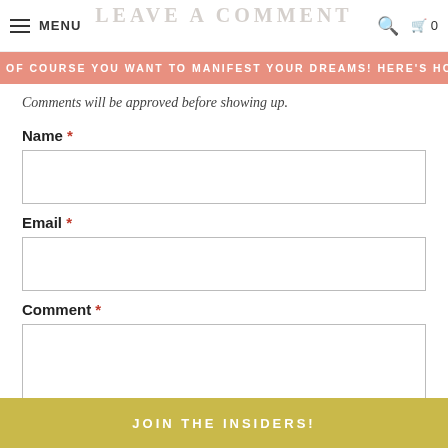MENU | LEAVE A COMMENT | search | cart 0
OF COURSE YOU WANT TO MANIFEST YOUR DREAMS! HERE'S HOW...
Comments will be approved before showing up.
Name *
Email *
Comment *
JOIN THE INSIDERS!